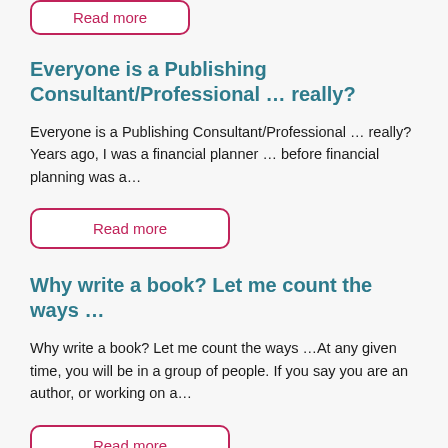[Figure (other): Partially visible rounded rectangle button at the top of the page (cut off)]
Everyone is a Publishing Consultant/Professional … really?
Everyone is a Publishing Consultant/Professional … really? Years ago, I was a financial planner … before financial planning was a…
[Figure (other): Read more button with pink border and text]
Why write a book? Let me count the ways …
Why write a book? Let me count the ways …At any given time, you will be in a group of people. If you say you are an author, or working on a…
[Figure (other): Read more button with pink border and text (partially cut off at bottom)]